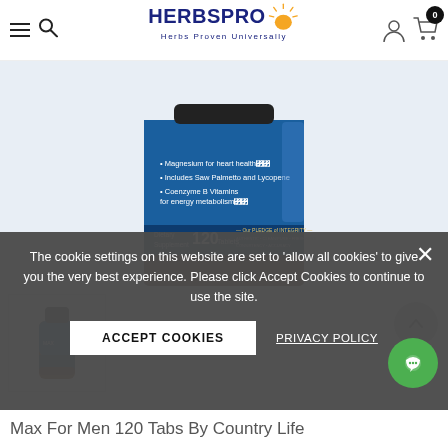HERBSPRO - Herbs Proven Universally
[Figure (photo): Product image of Max For Men 120 Tabs supplement bottle by Country Life, showing label with text: Magnesium for heart health, Includes Saw Palmetto and Lycopene, Coenzyme B Vitamins for energy metabolism, Dietary Supplement 120 Tablets, Our Pledge of Integrity]
[Figure (photo): Thumbnail image of the same Max For Men supplement bottle showing full bottle front]
The cookie settings on this website are set to 'allow all cookies' to give you the very best experience. Please click Accept Cookies to continue to use the site.
ACCEPT COOKIES
PRIVACY POLICY
Max For Men 120 Tabs By Country Life